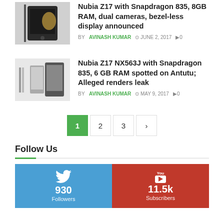[Figure (photo): Nubia Z17 smartphone product image - black phone]
Nubia Z17 with Snapdragon 835, 8GB RAM, dual cameras, bezel-less display announced
BY AVINASH KUMAR  JUNE 2, 2017  0
[Figure (photo): Nubia Z17 NX563J smartphone product renders]
Nubia Z17 NX563J with Snapdragon 835, 6 GB RAM spotted on Antutu; Alleged renders leak
BY AVINASH KUMAR  MAY 9, 2017  0
1  2  3  >
Follow Us
[Figure (infographic): Twitter: 930 Followers (blue box), YouTube: 11.5k Subscribers (red box)]